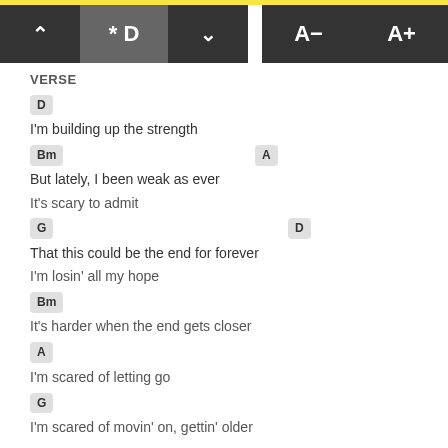[Figure (screenshot): Top navigation bar with chord/key controls: up arrow, *D key selector, down arrow, A- font decrease, A+ font increase buttons]
VERSE
D
I'm building up the strength
Bm   A
But lately, I been weak as ever
It's scary to admit
G   D
That this could be the end for forever
I'm losin' all my hope
Bm
It's harder when the end gets closer
A
I'm scared of letting go
G
I'm scared of movin' on, gettin' older